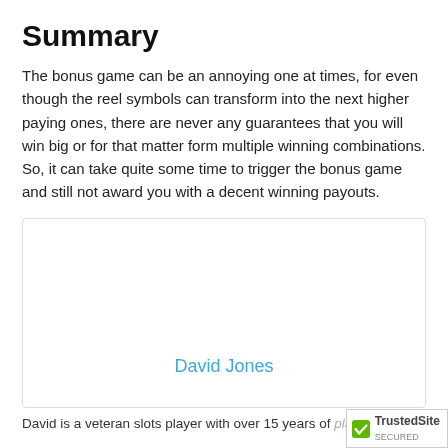Summary
The bonus game can be an annoying one at times, for even though the reel symbols can transform into the next higher paying ones, there are never any guarantees that you will win big or for that matter form multiple winning combinations. So, it can take quite some time to trigger the bonus game and still not award you with a decent winning payouts.
[Figure (other): Author card box with name David Jones in blue text]
David is a veteran slots player with over 15 years of playing